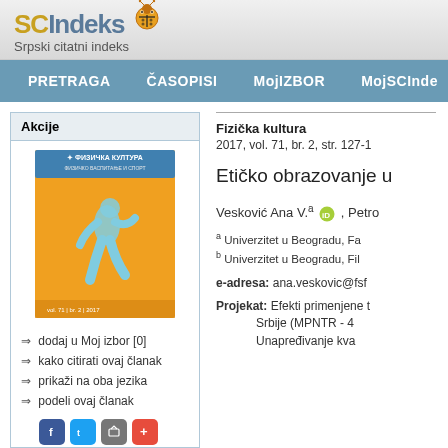[Figure (logo): SCIndeks logo with ladybug icon and text 'Srpski citatni indeks']
PRETRAGA   ČASOPISI   MojIZBOR   MojSCInde
Akcije
[Figure (illustration): Journal cover of Fizička kultura showing running figure on orange background with Cyrillic text]
dodaj u Moj izbor [0]
kako citirati ovaj članak
prikaži na oba jezika
podeli ovaj članak
Fizička kultura
2017, vol. 71, br. 2, str. 127-1
Etičko obrazovanje u
Vesković Ana V.a , Petro
a Univerzitet u Beogradu, Fa
b Univerzitet u Beogradu, Fil
e-adresa: ana.veskovic@fsf
Projekat: Efekti primenjene t Srbije (MPNTR - 4 Unapređivanje kva